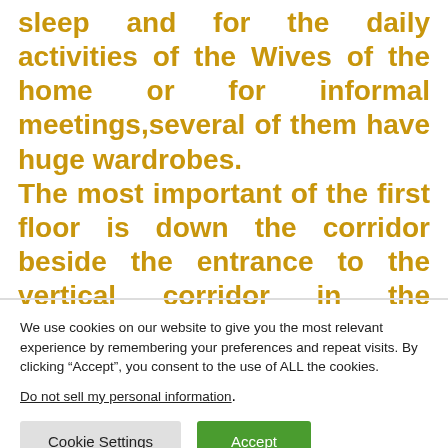sleep and for the daily activities of the Wives of the home or for informal meetings,several of them have huge wardrobes. The most important of the first floor is down the corridor beside the entrance to the vertical corridor in the northeast corner. This room i would say is the living
We use cookies on our website to give you the most relevant experience by remembering your preferences and repeat visits. By clicking “Accept”, you consent to the use of ALL the cookies.
Do not sell my personal information.